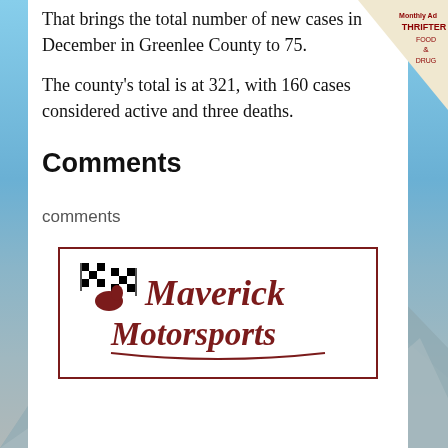That brings the total number of new cases in December in Greenlee County to 75.
The county's total is at 321, with 160 cases considered active and three deaths.
Comments
comments
[Figure (logo): Maverick Motorsports logo with checkered flags and script lettering in dark red/maroon on white background with dark red border]